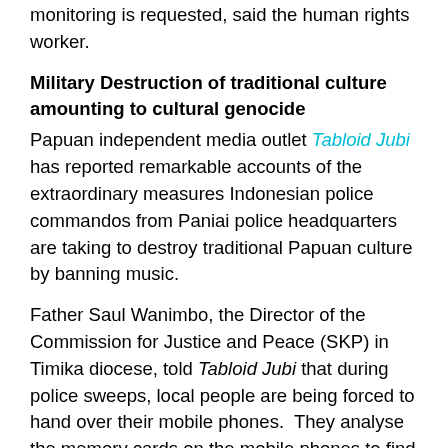monitoring is requested,  said the human rights worker.
Military Destruction of traditional culture amounting to cultural genocide
Papuan independent media outlet Tabloid Jubi has reported remarkable accounts of the extraordinary measures Indonesian police commandos from Paniai police headquarters are taking to destroy traditional Papuan culture by banning music.
Father Saul Wanimbo, the Director of the Commission for Justice and Peace (SKP) in Timika diocese, told Tabloid Jubi that during police sweeps, local people are being forced to hand over their mobile phones.  They analyse the memory cards on the mobile phones to find songs in Papuan language, and if the memory card is found to contain either one or many Papuan folk songs, police will smash the memory card with stones, according to Fr Wanimbo.
“The police are sweeping HP (Handphone) memory